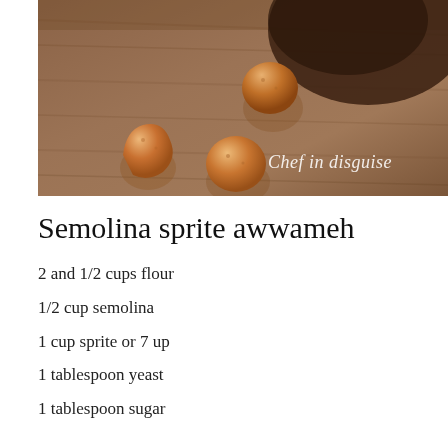[Figure (photo): Overhead photo of golden-brown awwameh (Middle Eastern fried dough balls) on a wooden surface, with a bowl partially visible in the upper right. Watermark text 'Chef in disguise' in white italic script at lower right.]
Semolina sprite awwameh
2 and 1/2 cups flour
1/2 cup semolina
1 cup sprite or 7 up
1 tablespoon yeast
1 tablespoon sugar